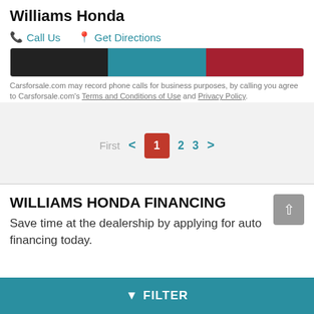Williams Honda
📞 Call Us   📍 Get Directions
[Figure (screenshot): Three colored buttons: black, teal, and red, partially visible at top of a card]
Carsforsale.com may record phone calls for business purposes, by calling you agree to Carsforsale.com's Terms and Conditions of Use and Privacy Policy.
First  <  1  2  3  >
WILLIAMS HONDA FINANCING
Save time at the dealership by applying for auto financing today.
▲ FILTER